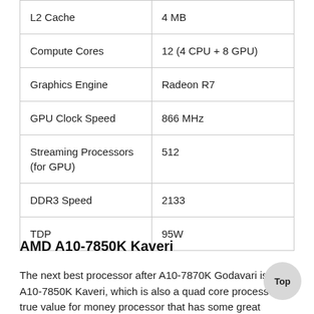| Specification | Value |
| --- | --- |
| L2 Cache | 4 MB |
| Compute Cores | 12 (4 CPU + 8 GPU) |
| Graphics Engine | Radeon R7 |
| GPU Clock Speed | 866 MHz |
| Streaming Processors (for GPU) | 512 |
| DDR3 Speed | 2133 |
| TDP | 95W |
AMD A10-7850K Kaveri
The next best processor after A10-7870K Godavari is AMD A10-7850K Kaveri, which is also a quad core processor. true value for money processor that has some great